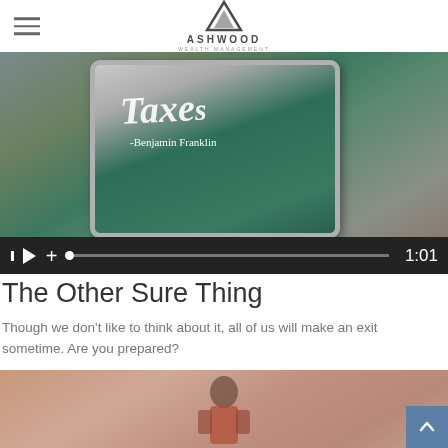[Figure (logo): Ashwood Wealth Management logo with triangle/mountain icon and company name]
[Figure (screenshot): Video thumbnail showing a tablet with Benjamin Franklin quote about taxes, with video player controls showing 1:01 duration]
The Other Sure Thing
Though we don't like to think about it, all of us will make an exit sometime. Are you prepared?
[Figure (photo): Photo of a child with back to camera in a warm-toned setting]